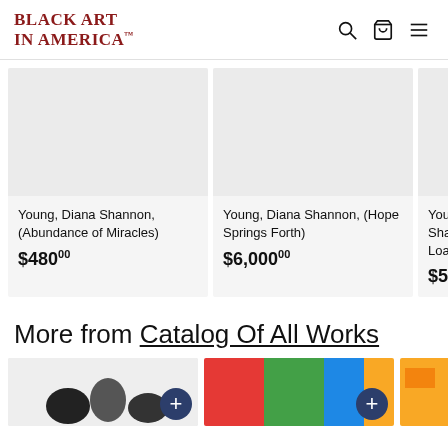BLACK ART IN AMERICA™
[Figure (screenshot): Product card: Young, Diana Shannon, (Abundance of Miracles), $480.00]
[Figure (screenshot): Product card: Young, Diana Shannon, (Hope Springs Forth), $6,000.00]
[Figure (screenshot): Partial product card: Young, Shannon, (Load...), $500...]
More from Catalog Of All Works
[Figure (photo): Thumbnail of artwork 1 with plus button]
[Figure (photo): Thumbnail of artwork 2 with plus button]
[Figure (photo): Partial thumbnail of artwork 3]